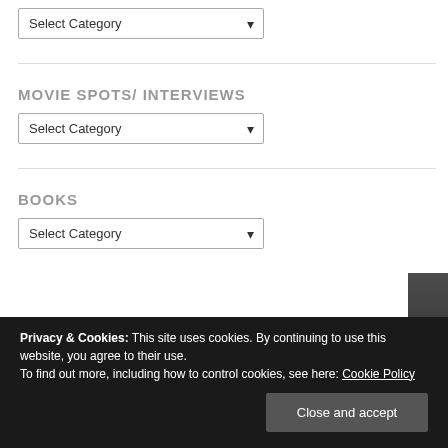MOVIE SPOTS/ INTERVIEWS
Select Category
BOOKS
Select Category
Privacy & Cookies: This site uses cookies. By continuing to use this website, you agree to their use.
To find out more, including how to control cookies, see here: Cookie Policy
Close and accept